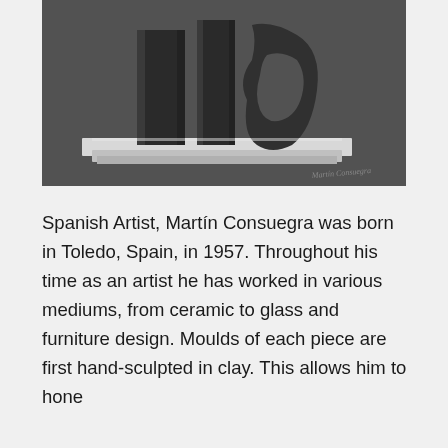[Figure (photo): Black and white photograph of abstract sculptures on a white rectangular base/pedestal. The sculptures appear to be tall, dark, geometric forms with curved cutouts, photographed against a dark background.]
Spanish Artist, Martín Consuegra was born in Toledo, Spain, in 1957. Throughout his time as an artist he has worked in various mediums, from ceramic to glass and furniture design. Moulds of each piece are first hand-sculpted in clay. This allows him to hone